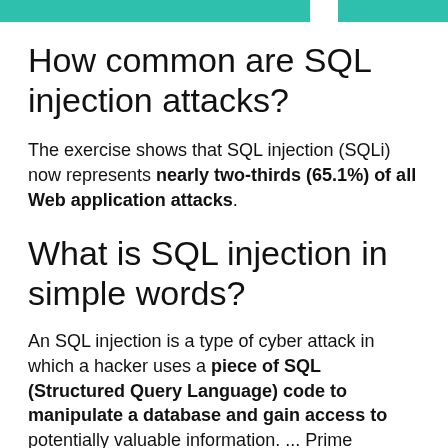How common are SQL injection attacks?
The exercise shows that SQL injection (SQLi) now represents nearly two-thirds (65.1%) of all Web application attacks.
What is SQL injection in simple words?
An SQL injection is a type of cyber attack in which a hacker uses a piece of SQL (Structured Query Language) code to manipulate a database and gain access to potentially valuable information. ... Prime examples include notable attacks against